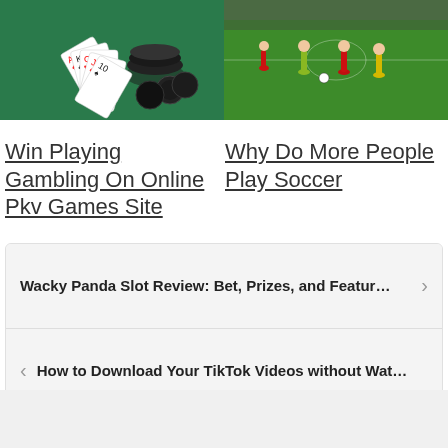[Figure (photo): Poker chips and playing cards on green felt table]
[Figure (photo): Soccer players on a green football pitch during a match]
Win Playing Gambling On Online Pkv Games Site
Why Do More People Play Soccer
Wacky Panda Slot Review: Bet, Prizes, and Featur…
How to Download Your TikTok Videos without Wat…